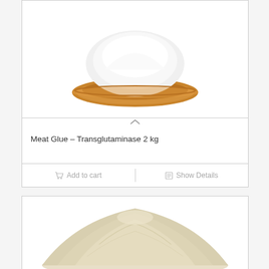[Figure (photo): White powder in a wooden bowl, product photo for Meat Glue Transglutaminase 2 kg]
Meat Glue – Transglutaminase 2 kg
Add to cart   Show Details
[Figure (photo): Pile of off-white/cream colored powder, product photo]